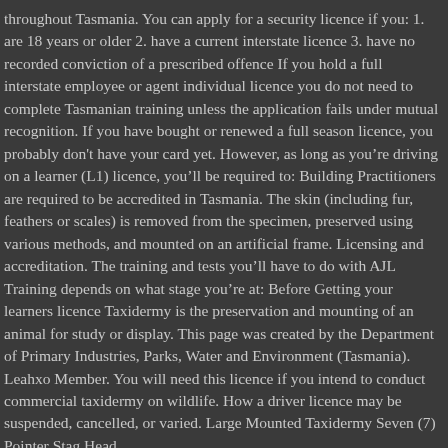throughout Tasmania. You can apply for a security licence if you: 1. are 18 years or older 2. have a current interstate licence 3. have no recorded conviction of a prescribed offence If you hold a full interstate employee or agent individual licence you do not need to complete Tasmanian training unless the application fails under mutual recognition. If you have bought or renewed a full season licence, you probably don't have your card yet. However, as long as you're driving on a learner (L1) licence, you'll be required to: Building Practitioners are required to be accredited in Tasmania. The skin (including fur, feathers or scales) is removed from the specimen, preserved using various methods, and mounted on an artificial frame. Licensing and accreditation. The training and tests you'll have to do with AJL Training depends on what stage you're at: Before Getting your learners licence Taxidermy is the preservation and mounting of an animal for study or display. This page was created by the Department of Primary Industries, Parks, Water and Environment (Tasmania). Leahxo Member. You will need this licence if you intend to conduct commercial taxidermy on wildlife. How a driver licence may be suspended, cancelled, or varied. Large Mounted Taxidermy Seven (7) Pointer Stag Head,